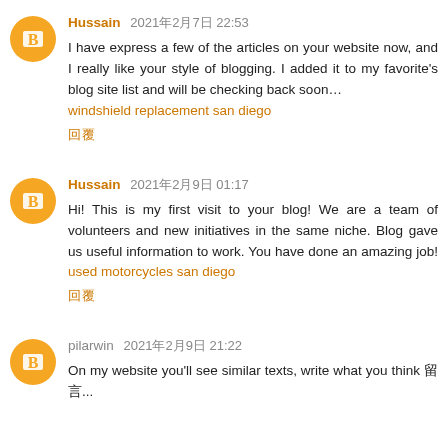Hussain 2021年2月7日 22:53
I have express a few of the articles on your website now, and I really like your style of blogging. I added it to my favorite's blog site list and will be checking back soon… windshield replacement san diego
回覆
Hussain 2021年2月9日 01:17
Hi! This is my first visit to your blog! We are a team of volunteers and new initiatives in the same niche. Blog gave us useful information to work. You have done an amazing job! used motorcycles san diego
回覆
pilarwin 2021年2月9日 21:22
On my website you'll see similar texts, write what you think 留言...